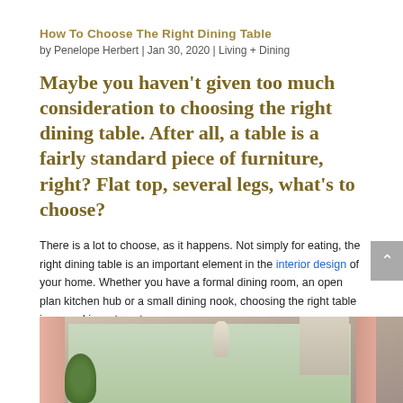How To Choose The Right Dining Table
by Penelope Herbert | Jan 30, 2020 | Living + Dining
Maybe you haven't given too much consideration to choosing the right dining table. After all, a table is a fairly standard piece of furniture, right? Flat top, several legs, what's to choose?
There is a lot to choose, as it happens. Not simply for eating, the right dining table is an important element in the interior design of your home. Whether you have a formal dining room, an open plan kitchen hub or a small dining nook, choosing the right table is a good investment.
[Figure (photo): Interior photo showing a dining room with pink curtains, a window with roman blinds, a hanging pendant lamp, and green plants]